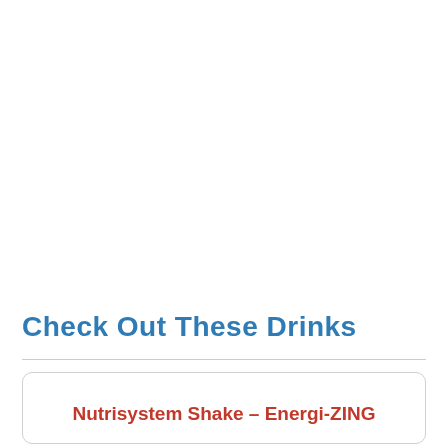Check Out These Drinks
Nutrisystem Shake – Energi-ZING